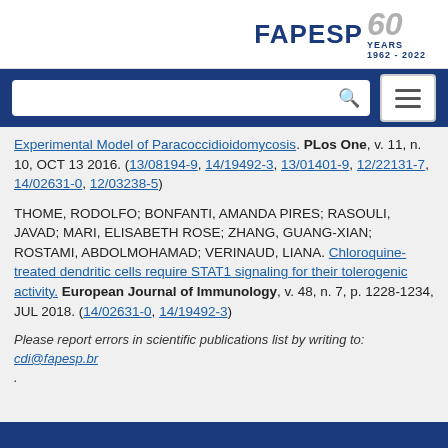[Figure (logo): FAPESP 60 Years 1962-2022 logo]
Experimental Model of Paracoccidioidomycosis. PLUS One, v. 11, n. 10, OCT 13 2016. (13/08194-9, 14/19492-3, 13/01401-9, 12/22131-7, 14/02631-0, 12/03238-5)
THOME, RODOLFO; BONFANTI, AMANDA PIRES; RASOULI, JAVAD; MARI, ELISABETH ROSE; ZHANG, GUANG-XIAN; ROSTAMI, ABDOLMOHAMAD; VERINAUD, LIANA. Chloroquine-treated dendritic cells require STAT1 signaling for their tolerogenic activity. European Journal of Immunology, v. 48, n. 7, p. 1228-1234, JUL 2018. (14/02631-0, 14/19492-3)
Please report errors in scientific publications list by writing to: cdi@fapesp.br.